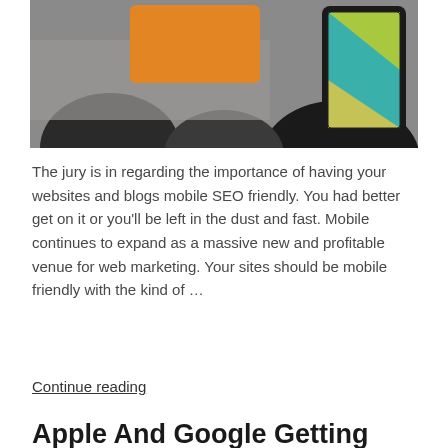[Figure (photo): A blurred photo showing people from behind, an orange rectangle/speech bubble shape, and a smartphone with a colorful abstract screen visible in the upper right.]
The jury is in regarding the importance of having your websites and blogs mobile SEO friendly. You had better get on it or you'll be left in the dust and fast. Mobile continues to expand as a massive new and profitable venue for web marketing. Your sites should be mobile friendly with the kind of …
Continue reading
Apple And Google Getting App Deep With SEO
JULY 20, 2015 · 2 min read
[Figure (photo): Partial bottom photo, blue-toned image, partially visible at the bottom of the page.]